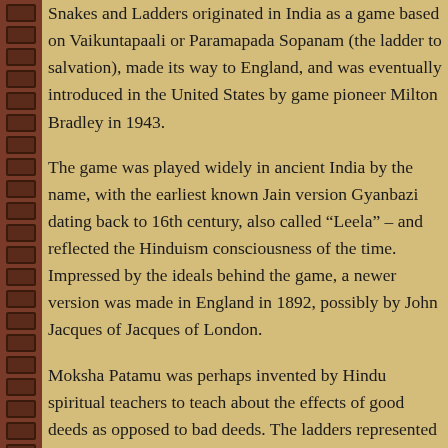Snakes and Ladders originated in India as a game based on Vaikuntapaali or Paramapada Sopanam (the ladder to salvation), made its way to England, and was eventually introduced in the US by game pioneer Milton Bradley in 1943.
The game was played widely in ancient India by the name, with the earliest known Jain version Gyanbazi dating back to 16th century, also called “Leela” – and reflected the Hinduism consciousness of the time. Impressed by the ideals behind the game, a newer version was made in England in 1892, possibly by John Jacques of Jacques of London.
Moksha Patamu was perhaps invented by Hindu spiritual teachers to teach about the effects of good deeds as opposed to bad deeds. The ladders represented virtues such as generosity, faith, humility, etc., and the snakes indicated vices like lust, anger, murder, theft, etc. The moral of the game was that a person can attain salvation (Moksha) through performing good deeds whereas evil deeds lead to rebirth in lower forms of life (Patamu). The number of ladders was less than the number of snakes as a reminder that treading the path of virtue is much more difficult compared to committing sins. Presumably the number “1” stood for ... (Salvation).